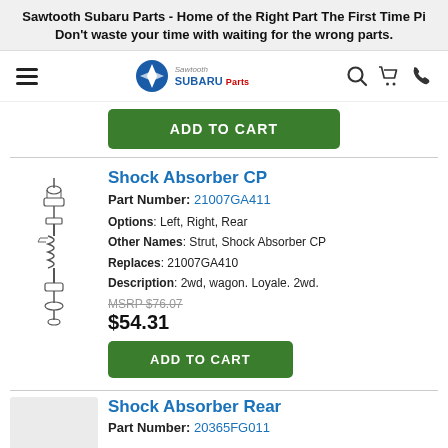Sawtooth Subaru Parts - Home of the Right Part The First Time Pi Don't waste your time with waiting for the wrong parts.
[Figure (screenshot): Navigation bar with hamburger menu, Sawtooth Subaru Parts logo, search icon, cart icon, and phone icon]
[Figure (other): ADD TO CART green button for previous product]
[Figure (engineering-diagram): Exploded diagram of a shock absorber CP part with assembly components]
Shock Absorber CP
Part Number: 21007GA411
Options: Left, Right, Rear
Other Names: Strut, Shock Absorber CP
Replaces: 21007GA410
Description: 2wd, wagon. Loyale. 2wd.
MSRP $76.07
$54.31
[Figure (other): ADD TO CART green button]
Shock Absorber Rear
Part Number: 20365FG011